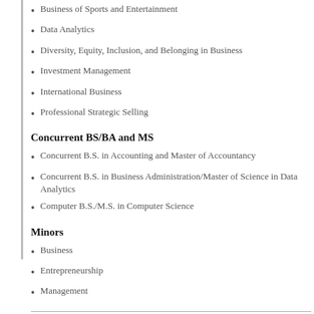Business of Sports and Entertainment
Data Analytics
Diversity, Equity, Inclusion, and Belonging in Business
Investment Management
International Business
Professional Strategic Selling
Concurrent BS/BA and MS
Concurrent B.S. in Accounting and Master of Accountancy
Concurrent B.S. in Business Administration/Master of Science in Data Analytics
Computer B.S./M.S. in Computer Science
Minors
Business
Entrepreneurship
Management
College of Education
Bachelor of Science in Education
Elementary Education
Secondary Education